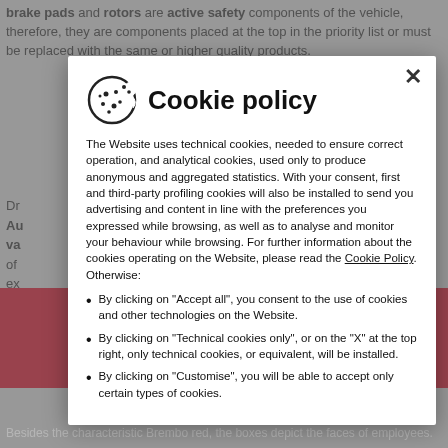brake pads and rotors are active safety components of the vehicle, therefore, they are components placed at the top in the priority list or must be replaced with the same or higher quality products.
Dr... Au... va... of... ex...
[Figure (screenshot): Cookie policy modal overlay on a webpage. The modal shows a cookie icon and title 'Cookie policy', with policy text and bullet points about cookie consent options.]
Besides the characteristic Brembo red, the boxes depict the faces of employees.